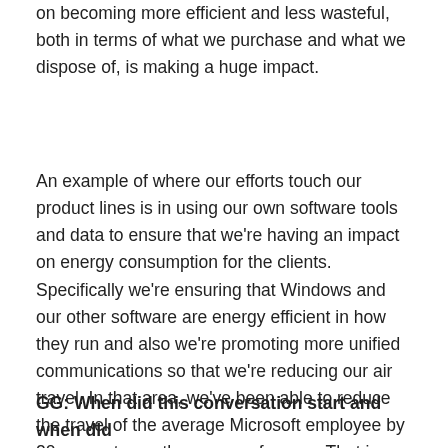on becoming more efficient and less wasteful, both in terms of what we purchase and what we dispose of, is making a huge impact.
An example of where our efforts touch our product lines is in using our own software tools and data to ensure that we're having an impact on energy consumption for the clients. Specifically we're ensuring that Windows and our other software are energy efficient in how they run and also we're promoting more unified communications so that we're reducing our air travel. In that area, we've been able to reduce the travel of the average Microsoft employee by 20 percent over the course of a year. That is a direct result of leveraging our technologies more effectively and others can do the same.
GG: When did this conversation start and when did